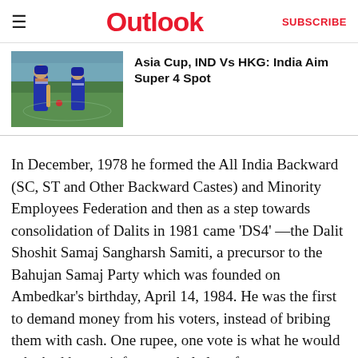Outlook  SUBSCRIBE
Asia Cup, IND Vs HKG: India Aim Super 4 Spot
In December, 1978 he formed the All India Backward (SC, ST and Other Backward Castes) and Minority Employees Federation and then as a step towards consolidation of Dalits in 1981 came 'DS4' —the Dalit Shoshit Samaj Sangharsh Samiti, a precursor to the Bahujan Samaj Party which was founded on Ambedkar's birthday, April 14, 1984. He was the first to demand money from his voters, instead of bribing them with cash. One rupee, one vote is what he would ask. And he got it from a whole lot of